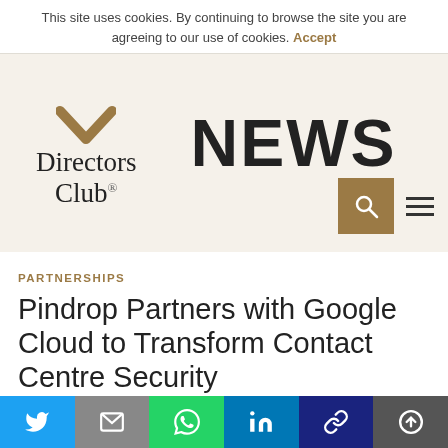This site uses cookies. By continuing to browse the site you are agreeing to our use of cookies. Accept
[Figure (logo): Directors Club News logo with chevron mark and bold NEWS text]
PARTNERSHIPS
Pindrop Partners with Google Cloud to Transform Contact Centre Security